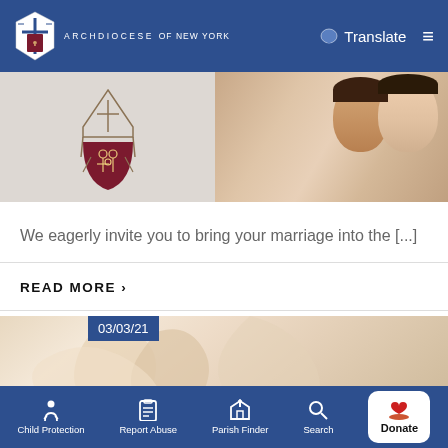ARCHDIOCESE OF NEW YORK — Translate
[Figure (photo): Banner image showing the Archdiocese of New York crest/shield on the left and a smiling couple on the right]
We eagerly invite you to bring your marriage into the [...]
READ MORE >
03/03/21
[Figure (photo): Close-up photo of clasped hands, warm beige tones, partial view]
Child Protection  Report Abuse  Parish Finder  Search  Donate